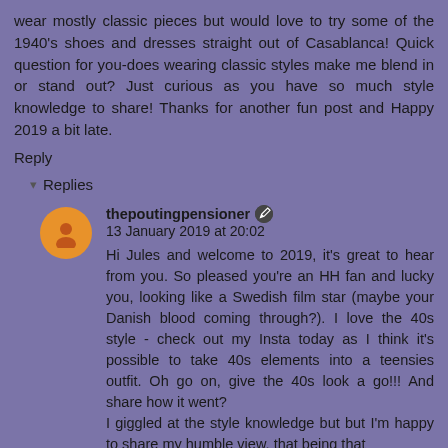wear mostly classic pieces but would love to try some of the 1940's shoes and dresses straight out of Casablanca! Quick question for you-does wearing classic styles make me blend in or stand out? Just curious as you have so much style knowledge to share! Thanks for another fun post and Happy 2019 a bit late.
Reply
Replies
thepoutingpensioner 13 January 2019 at 20:02
Hi Jules and welcome to 2019, it's great to hear from you. So pleased you're an HH fan and lucky you, looking like a Swedish film star (maybe your Danish blood coming through?). I love the 40s style - check out my Insta today as I think it's possible to take 40s elements into a teensies outfit. Oh go on, give the 40s look a go!!! And share how it went?
I giggled at the style knowledge but but I'm happy to share my humble view, that being that